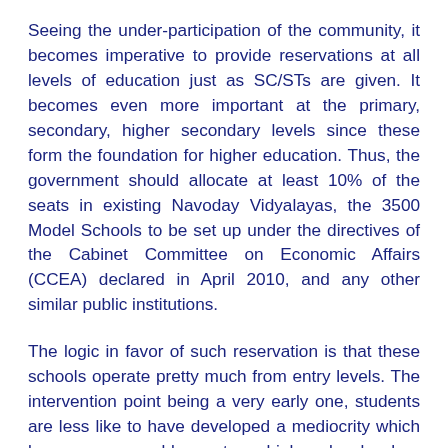Seeing the under-participation of the community, it becomes imperative to provide reservations at all levels of education just as SC/STs are given. It becomes even more important at the primary, secondary, higher secondary levels since these form the foundation for higher education. Thus, the government should allocate at least 10% of the seats in existing Navoday Vidyalayas, the 3500 Model Schools to be set up under the directives of the Cabinet Committee on Economic Affairs (CCEA) declared in April 2010, and any other similar public institutions.
The logic in favor of such reservation is that these schools operate pretty much from entry levels. The intervention point being a very early one, students are less like to have developed a mediocrity which becomes a problem at a higher level when reservation is given at universities, IITs, IIMs etc. So if a student is given admission, then the subsequent progress will be determined by the average standard of the schools. In general, any student, irrespective of her religious identity, should have a similar level of performance in such schools where the students have minimal stakes with the ills of society like poverty,